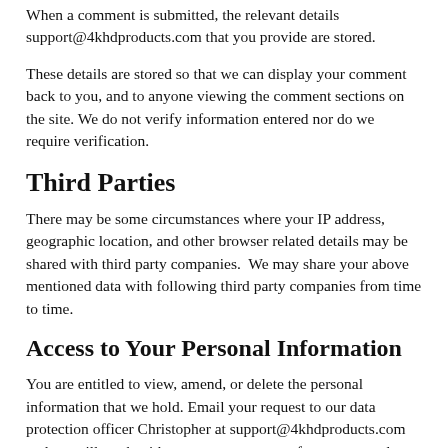When a comment is submitted, the relevant details support@4khdproducts.com that you provide are stored.
These details are stored so that we can display your comment back to you, and to anyone viewing the comment sections on the site. We do not verify information entered nor do we require verification.
Third Parties
There may be some circumstances where your IP address, geographic location, and other browser related details may be shared with third party companies.  We may share your above mentioned data with following third party companies from time to time.
Access to Your Personal Information
You are entitled to view, amend, or delete the personal information that we hold. Email your request to our data protection officer Christopher at support@4khdproducts.com and we will work with you to remove any of your personal